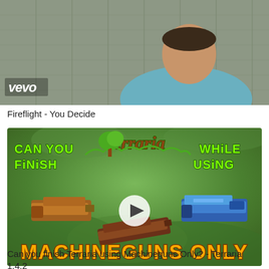[Figure (screenshot): Video thumbnail showing a person outdoors with a wooden background, with the Vevo logo in the lower left corner.]
Fireflight - You Decide
[Figure (screenshot): YouTube video thumbnail for a Terraria gaming video. Green background with Terraria logo, text reading 'CAN YOU FINISH' on the left, 'WHILE USING' on the right, three pixel-art machineguns displayed, a play button in the center, and large orange text at the bottom reading 'MACHINEGUNS ONLY'.]
Can you finish Terraria using Machineguns Only? - Terraria 1.4.2